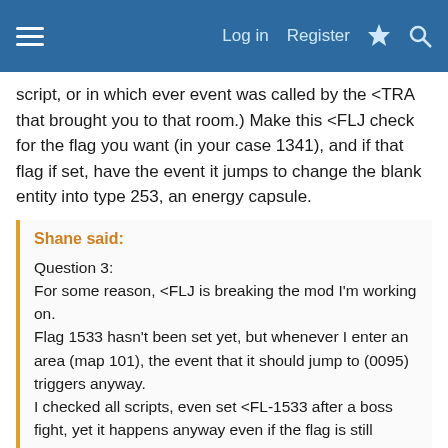Log in  Register
script, or in which ever event was called by the <TRA that brought you to that room.) Make this <FLJ check for the flag you want (in your case 1341), and if that flag if set, have the event it jumps to change the blank entity into type 253, an energy capsule.
Shane said:
Question 3:
For some reason, <FLJ is breaking the mod I'm working on.
Flag 1533 hasn't been set yet, but whenever I enter an area (map 101), the event that it should jump to (0095) triggers anyway.
I checked all scripts, even set <FL-1533 after a boss fight, yet it happens anyway even if the flag is still impossible to trigger.
And an H/V trigger that is supposed to appear only when that flag has been set appears whether the flag is set or not.
I hate it when stuff like that happens. Sometimes, it's the result of some part of some script setting the flag that you're not aware of. If you haven't already, use either Booster's Lab or Noxid's TSC script editor to generate a flag listing of your mod, and see